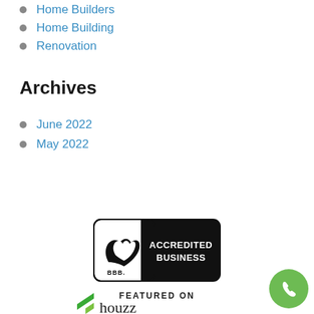Home Builders
Home Building
Renovation
Archives
June 2022
May 2022
[Figure (logo): BBB Accredited Business badge - black rounded rectangle with BBB logo and text 'ACCREDITED BUSINESS']
[Figure (logo): Featured on Houzz logo - green chevron/arrow shapes with 'houzz' text in lowercase]